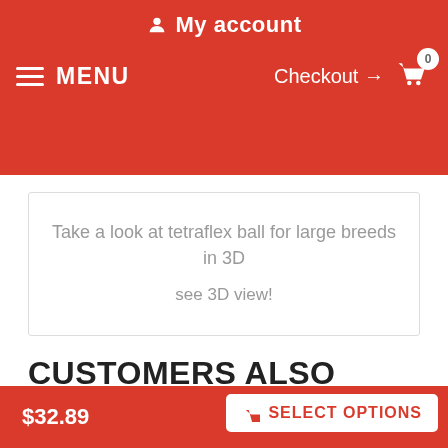My account
MENU  Checkout → 0
Take a look at tetraflex ball for large breeds in 3D
see 3D view!
CUSTOMERS ALSO PURCHASED
[Figure (photo): Yellow textured ball product image (tetraflex ball for large breeds)]
$32.89  SELECT OPTIONS